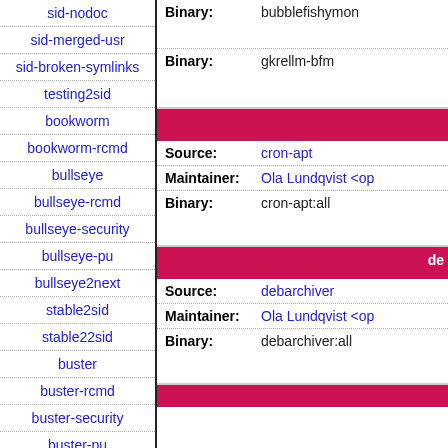sid-nodoc
sid-merged-usr
sid-broken-symlinks
testing2sid
bookworm
bookworm-rcmd
bullseye
bullseye-rcmd
bullseye-security
bullseye-pu
bullseye2next
stable2sid
stable22sid
buster
buster-rcmd
buster-security
buster-pu
buster2next
| Field | Value |
| --- | --- |
| Binary: | bubblefishymon |
| Binary: | gkrellm-bfm |
| Field | Value |
| --- | --- |
| Source: | cron-apt |
| Maintainer: | Ola Lundqvist <op...> |
| Binary: | cron-apt:all |
| Field | Value |
| --- | --- |
| Source: | debarchiver |
| Maintainer: | Ola Lundqvist <op...> |
| Binary: | debarchiver:all |